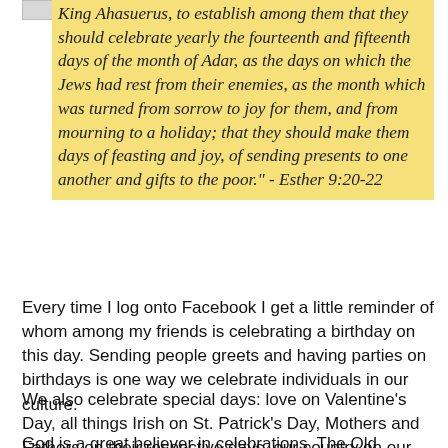[Figure (other): Partial image visible at top-left, cropped]
King Ahasuerus, to establish among them that they should celebrate yearly the fourteenth and fifteenth days of the month of Adar, as the days on which the Jews had rest from their enemies, as the month which was turned from sorrow to joy for them, and from mourning to a holiday; that they should make them days of feasting and joy, of sending presents to one another and gifts to the poor." - Esther 9:20-22
Every time I log onto Facebook I get a little reminder of whom among my friends is celebrating a birthday on this day. Sending people greets and having parties on birthdays is one way we celebrate individuals in our culture.
We also celebrate special days: love on Valentine's Day, all things Irish on St. Patrick's Day, Mothers and Fathers on their respective days, our country on our national holiday...
God is a great believer in celebrations. The Old Testament is